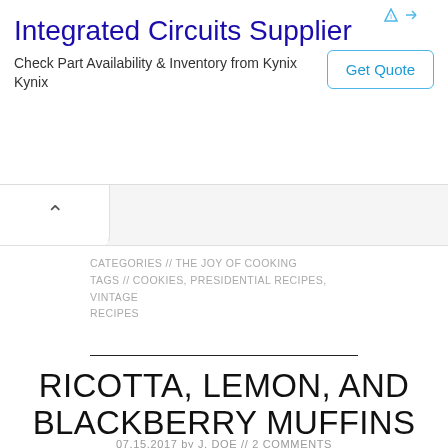[Figure (other): Advertisement banner: Integrated Circuits Supplier — Check Part Availability & Inventory from Kynix / Kynix — with a 'Get Quote' button]
CATEGORIES // THE JOY OF COOKING
TAGS // COOKIES, PRESIDENTIAL RECIPES, VINTAGE RECIPES
RICOTTA, LEMON, AND BLACKBERRY MUFFINS
07.15.2017 by J. DOE // 2 COMMENTS
Most people can tell when it's rhubarb season